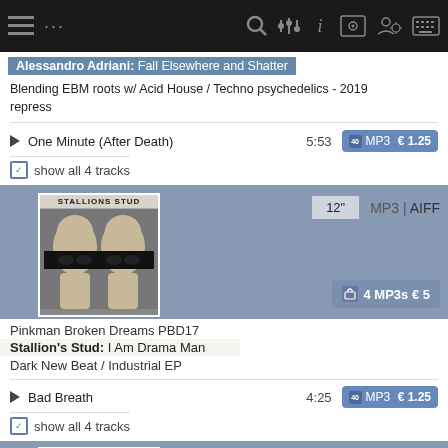Navigation bar with menu, search, equalizer, info, and account icons
Alessandro Adriani: Fall Elsewhere and Shatter
Blending EBM roots w/ Acid House / Techno psychedelics - 2019 repress
One Minute (After Death) 5:53 MP3 €1.25
show all 4 tracks
[Figure (photo): Album cover for Stallion's Stud - I Am Drama Man showing two bald figures with black bar over eyes]
12" MP3 | AIFF
4 MP3s €5
Pinkman Broken Dreams PBD17
Stallion's Stud: I Am Drama Man
Dark New Beat / Industrial EP
Bad Breath 4:25 MP3 €1.25
show all 4 tracks
[Figure (photo): Album cover for Black Merlin Sformator 1 with figure]